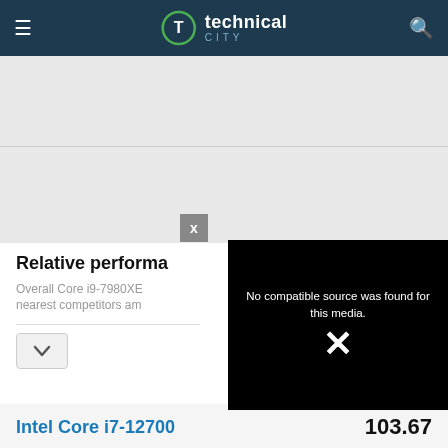technical city
[Figure (screenshot): Gray advertisement placeholder area]
[Figure (screenshot): Second gray advertisement area with a close X button and a video error overlay reading 'No compatible source was found for this media.']
Relative performa
Overall Core i9-7980XE nearest competitors am
Intel Core i7-12700
103.67